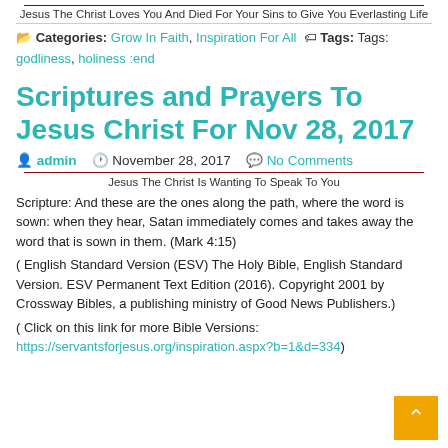Jesus The Christ Loves You And Died For Your Sins to Give You Everlasting Life
📂 Categories: Grow In Faith, Inspiration For All 🏷 Tags: Tags: godliness, holiness :end
Scriptures and Prayers To Jesus Christ For Nov 28, 2017
admin  November 28, 2017  No Comments
Jesus The Christ Is Wanting To Speak To You
Scripture: And these are the ones along the path, where the word is sown: when they hear, Satan immediately comes and takes away the word that is sown in them. (Mark 4:15)
( English Standard Version (ESV) The Holy Bible, English Standard Version. ESV Permanent Text Edition (2016). Copyright 2001 by Crossway Bibles, a publishing ministry of Good News Publishers.)
( Click on this link for more Bible Versions: https://servantsforjesus.org/inspiration.aspx?b=1&d=334)